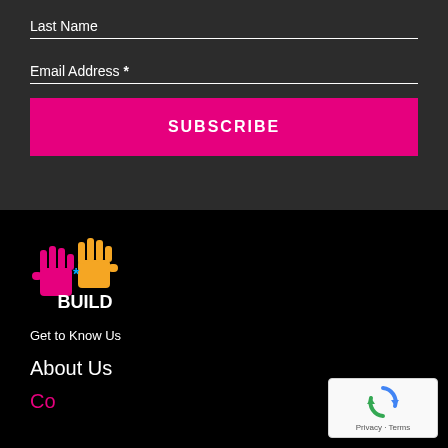Last Name
Email Address *
SUBSCRIBE
[Figure (logo): BUILD organization logo with two hands (pink and orange) with a blue asterisk in the center, and the word BUILD in white text]
Get to Know Us
About Us
Contact Us
[Figure (logo): Google reCAPTCHA badge with spinning arrows icon and Privacy - Terms text]